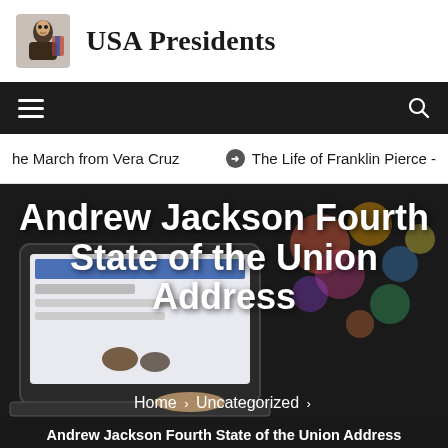USA Presidents
[Figure (screenshot): Website header with logo (illustrated figure of a person) and site title 'USA Presidents']
he March from Vera Cruz   ⊙  The Life of Franklin Pierce -
Andrew Jackson Fourth State of the Union Address
Home › Uncategorized › Andrew Jackson Fourth State of the Union Address